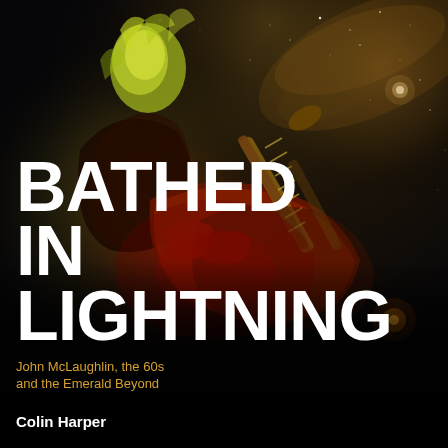[Figure (photo): Book cover of 'Bathed in Lightning' showing a musician playing electric guitar against a dark starry space/nebula background with dramatic lighting. The guitarist figure is illuminated with yellow-green light on the upper body and red/orange tones on the hands and guitar.]
BATHED IN LIGHTNING
John McLaughlin, the 60s and the Emerald Beyond
Colin Harper